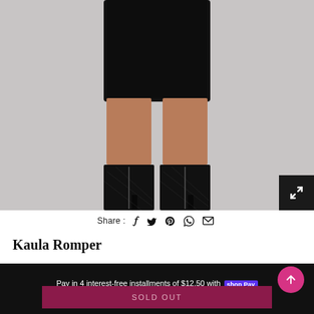[Figure (photo): Product photo of a woman wearing black biker shorts and black mesh heeled ankle boots, cropped at torso level, gray background]
Share : [Facebook] [Twitter] [Pinterest] [WhatsApp] [Email]
Kaula Romper
Pay in 4 interest-free installments of $12.50 with shop Pay Learn more
SOLD OUT